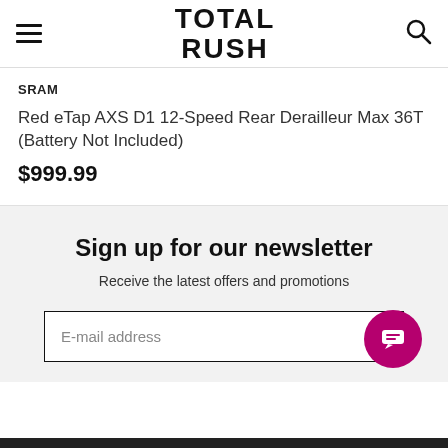TOTAL RUSH
SRAM
Red eTap AXS D1 12-Speed Rear Derailleur Max 36T (Battery Not Included)
$999.99
Sign up for our newsletter
Receive the latest offers and promotions
E-mail address